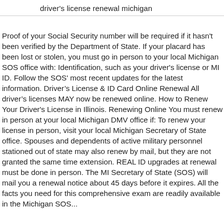driver's license renewal michigan
Proof of your Social Security number will be required if it hasn't been verified by the Department of State. If your placard has been lost or stolen, you must go in person to your local Michigan SOS office with: Identification, such as your driver's license or MI ID. Follow the SOS' most recent updates for the latest information. Driver’s License & ID Card Online Renewal All driver’s licenses MAY now be renewed online. How to Renew Your Driver's License in Illinois. Renewing Online You must renew in person at your local Michigan DMV office if: To renew your license in person, visit your local Michigan Secretary of State office. Spouses and dependents of active military personnel stationed out of state may also renew by mail, but they are not granted the same time extension. REAL ID upgrades at renewal must be done in person. The MI Secretary of State (SOS) will mail you a renewal notice about 45 days before it expires. All the facts you need for this comprehensive exam are readily available in the Michigan SOS...